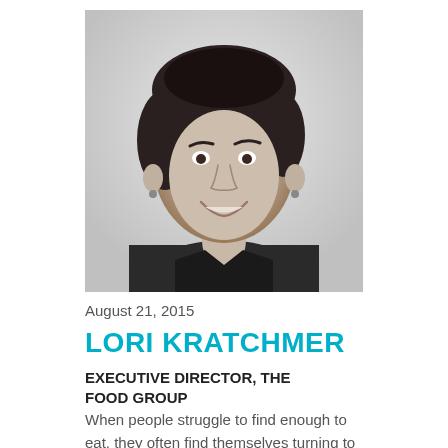[Figure (photo): Black and white portrait photo of a woman with short dark hair, smiling, wearing a dark top and earrings.]
August 21, 2015
LORI KRATCHMER
EXECUTIVE DIRECTOR, THE FOOD GROUP
When people struggle to find enough to eat, they often find themselves turning to a local food shelf for assistance. Canned goods and other non-perishable food items are important and